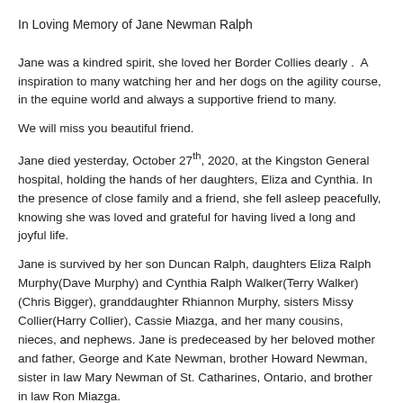In Loving Memory of Jane Newman Ralph
Jane was a kindred spirit, she loved her Border Collies dearly .  A inspiration to many watching her and her dogs on the agility course, in the equine world and always a supportive friend to many.
We will miss you beautiful friend.
Jane died yesterday, October 27th, 2020, at the Kingston General hospital, holding the hands of her daughters, Eliza and Cynthia. In the presence of close family and a friend, she fell asleep peacefully, knowing she was loved and grateful for having lived a long and joyful life.
Jane is survived by her son Duncan Ralph, daughters Eliza Ralph Murphy(Dave Murphy) and Cynthia Ralph Walker(Terry Walker)(Chris Bigger), granddaughter Rhiannon Murphy, sisters Missy Collier(Harry Collier), Cassie Miazga, and her many cousins, nieces, and nephews. Jane is predeceased by her beloved mother and father, George and Kate Newman, brother Howard Newman, sister in law Mary Newman of St. Catharines, Ontario, and brother in law Ron Miazga.
Jane was born and raised in St. Catharines, Ontario. She attended Havergal College in Toronto and returned to help on the family farm,